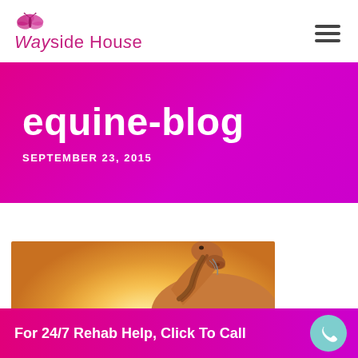Wayside House
equine-blog
SEPTEMBER 23, 2015
[Figure (photo): A girl sitting in a golden sunlit field reaching out her hand to a horse's nose]
For 24/7 Rehab Help, Click To Call